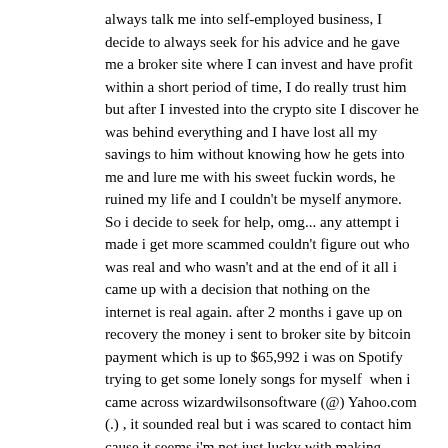always talk me into self-employed business, I decide to always seek for his advice and he gave me a broker site where I can invest and have profit within a short period of time, I do really trust him but after I invested into the crypto site I discover he was behind everything and I have lost all my savings to him without knowing how he gets into me and lure me with his sweet fuckin words, he ruined my life and I couldn't be myself anymore. So i decide to seek for help, omg... any attempt i made i get more scammed couldn't figure out who was real and who wasn't and at the end of it all i came up with a decision that nothing on the internet is real again. after 2 months i gave up on recovery the money i sent to broker site by bitcoin payment which is up to $65,992 i was on Spotify trying to get some lonely songs for myself  when i came across wizardwilsonsoftware (@) Yahoo.com (.) , it sounded real but i was scared to contact him cause it seems i'm not just lucky with making money on investment maybe i had to work through out my whole lifetime so i ignored but i was in a worker meeting when a discussion lead to bitcoin scam and i heard one of my co-